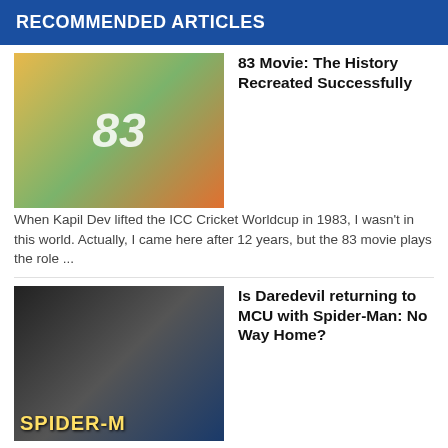RECOMMENDED ARTICLES
83 Movie: The History Recreated Successfully
When Kapil Dev lifted the ICC Cricket Worldcup in 1983, I wasn't in this world. Actually, I came here after 12 years, but the 83 movie plays the role ...
Is Daredevil returning to MCU with Spider-Man: No Way Home?
Image source: The DirectFor months, there was a rumor that Charlie Cox is returning to MCU in his Daredevil character? Is here really returning t...
RRR Trailer Review: SS Rajamouli brings a power-packed film starring Ram Charan, Jr NTR, Ajay Devgn, Alia Bhatt
RRR stands for Rise Roar Revlot, a periodical drama from